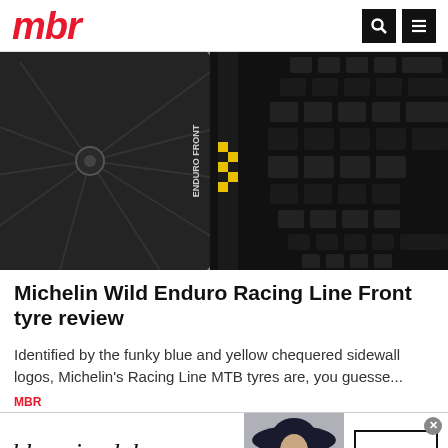mbr
[Figure (photo): Close-up photo of a mountain bike wheel with Michelin Wild Enduro Racing Line front tyre, showing tread and yellow/black chequered sidewall logo against stone background]
Michelin Wild Enduro Racing Line Front tyre review
Identified by the funky blue and yellow chequered sidewall logos, Michelin's Racing Line MTB tyres are, you guesse...
MBR
[Figure (infographic): Bloomingdales advertisement banner: bloomingdales logo, 'View Today's Top Deals!' tagline, fashion model image, and 'SHOP NOW >' button]